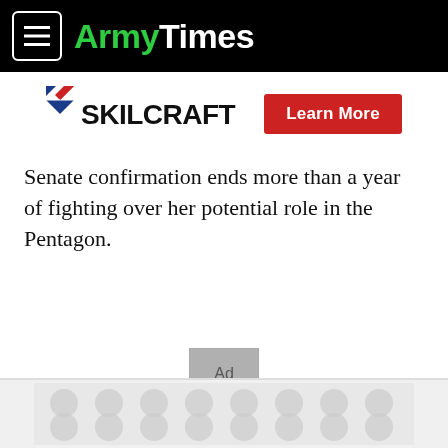ArmyTimes
[Figure (logo): SKILCRAFT logo with red/white/blue chevron icon and black text, alongside a red 'Learn More' button]
Senate confirmation ends more than a year of fighting over her potential role in the Pentagon.
[Figure (other): Ad placeholder box with text 'Ad']
[Figure (other): Bottom advertisement strip with circular pattern design]